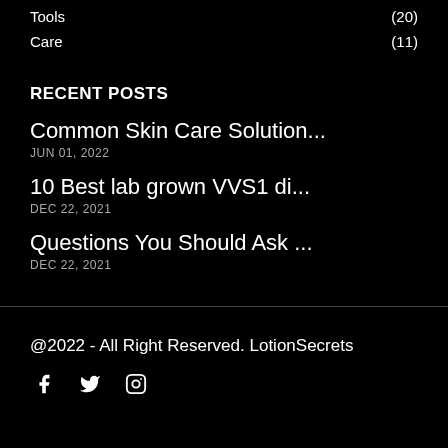Tools (20)
Care (11)
RECENT POSTS
Common Skin Care Solution... JUN 01, 2022
10 Best lab grown VVS1 di... DEC 22, 2021
Questions You Should Ask ... DEC 22, 2021
@2022 - All Right Reserved. LotionSecrets